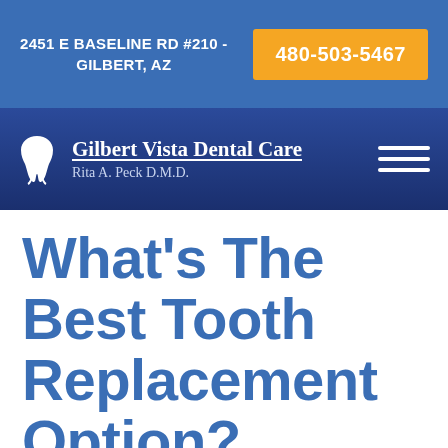2451 E BASELINE RD #210 - GILBERT, AZ | 480-503-5467
[Figure (logo): Gilbert Vista Dental Care logo with tooth icon and text: Gilbert Vista Dental Care, Rita A. Peck D.M.D.]
What's The Best Tooth Replacement Option?
Arizona Professional